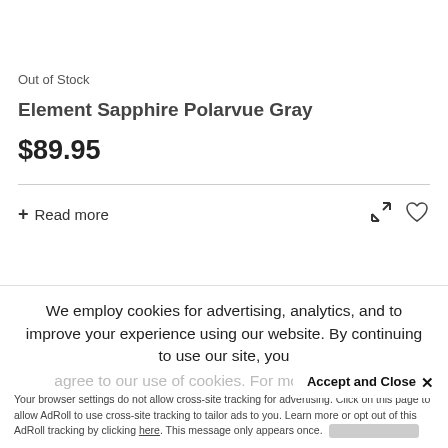Out of Stock
Element Sapphire Polarvue Gray
$89.95
+ Read more
We employ cookies for advertising, analytics, and to improve your experience using our website. By continuing to use our site, you agree to our use of cookies. For more information
Accept and Close ✕
Your browser settings do not allow cross-site tracking for advertising. Click on this page to allow AdRoll to use cross-site tracking to tailor ads to you. Learn more or opt out of this AdRoll tracking by clicking here. This message only appears once.